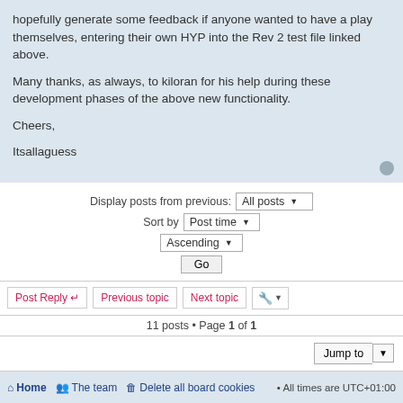hopefully generate some feedback if anyone wanted to have a play themselves, entering their own HYP into the Rev 2 test file linked above.
Many thanks, as always, to kiloran for his help during these development phases of the above new functionality.
Cheers,
Itsallaguess
Display posts from previous: All posts  Sort by Post time  Ascending  Go
Post Reply  Previous topic  Next topic
11 posts • Page 1 of 1
Jump to
WHO IS ONLINE
Users browsing this forum: No registered users and 5 guests
Home  The team  Delete all board cookies  • All times are UTC+01:00